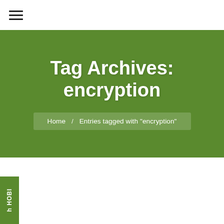☰ (hamburger menu)
Tag Archives: encryption
Home / Entries tagged with "encryption"
[Figure (illustration): Network security illustration showing interconnected icons including a laptop, lock icons, and circuit/database symbols on a blurred blue background. Overlaid with a cookie consent notice reading: We use cookies to ensure that we give you the best experience on our website. If you continue to use this site we will assume that you are happy with it. OK]
ψ HOBI (vertical sidebar tab text)